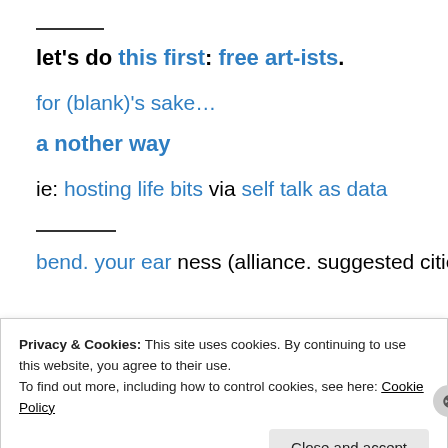——
let's do this first: free art-ists.
for (blank)'s sake…
a nother way
ie: hosting life bits via self talk as data
——
bend. your ear ness (alliance, suggested cities, next light
Privacy & Cookies: This site uses cookies. By continuing to use this website, you agree to their use. To find out more, including how to control cookies, see here: Cookie Policy
Close and accept